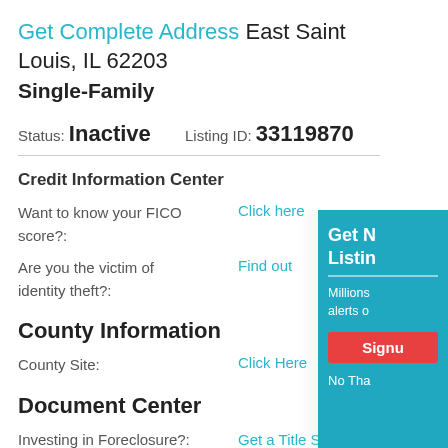Get Complete Address East Saint Louis, IL 62203
Single-Family
Status: Inactive   Listing ID: 33119870
Credit Information Center
Want to know your FICO score?:
Click here
Are you the victim of identity theft?:
Find out
County Information
County Site:
Click Here
Document Center
Investing in Foreclosure?:
Get a Title Search
Need forms and